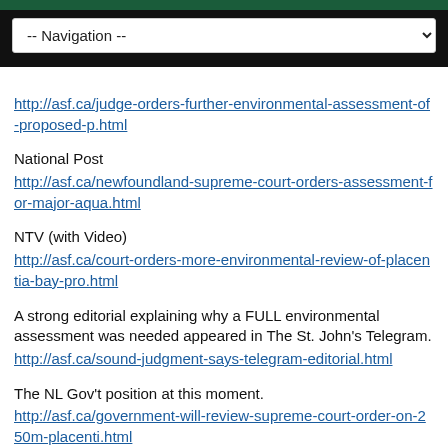-- Navigation --
http://asf.ca/judge-orders-further-environmental-assessment-of-proposed-p.html
National Post
http://asf.ca/newfoundland-supreme-court-orders-assessment-for-major-aqua.html
NTV (with Video)
http://asf.ca/court-orders-more-environmental-review-of-placentia-bay-pro.html
A strong editorial explaining why a FULL environmental assessment was needed appeared in The St. John’s Telegram.
http://asf.ca/sound-judgment-says-telegram-editorial.html
The NL Gov’t position at this moment.
http://asf.ca/government-will-review-supreme-court-order-on-250m-placenti.html